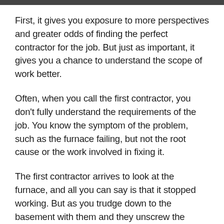First, it gives you exposure to more perspectives and greater odds of finding the perfect contractor for the job. But just as important, it gives you a chance to understand the scope of work better.
Often, when you call the first contractor, you don't fully understand the requirements of the job. You know the symptom of the problem, such as the furnace failing, but not the root cause or the work involved in fixing it.
The first contractor arrives to look at the furnace, and all you can say is that it stopped working. But as you trudge down to the basement with them and they unscrew the panel, you can ask questions about the project.